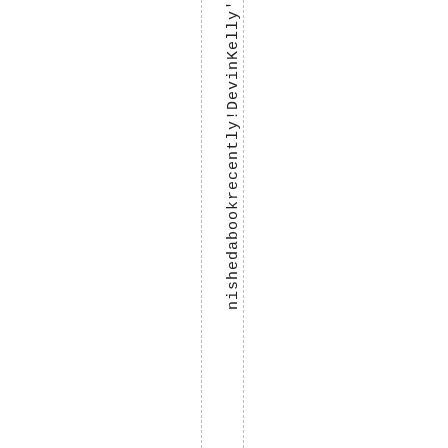nishedabookrecently!DevinKelly's